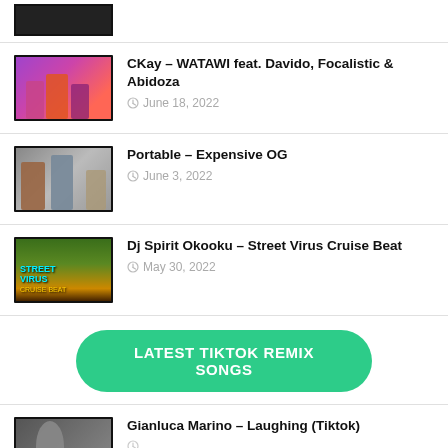[Figure (photo): Partially visible music video thumbnail at top, dark/cropped]
CKay – WATAWI feat. Davido, Focalistic & Abidoza
June 18, 2022
Portable – Expensive OG
June 3, 2022
Dj Spirit Okooku – Street Virus Cruise Beat
May 30, 2022
LATEST TIKTOK REMIX SONGS
Gianluca Marino – Laughing (Tiktok)